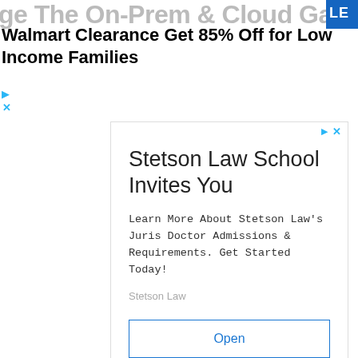ge The On-Prem & Cloud Gap
Walmart Clearance Get 85% Off for Low Income Families
[Figure (screenshot): Advertisement for Stetson Law School with title 'Stetson Law School Invites You', body text about Juris Doctor Admissions, sponsor label 'Stetson Law', and an 'Open' button]
[Figure (logo): Walmart logo with blue text and yellow spark symbol, with Clearance banner showing 'Last-chance savings on the hottest items' with a price tag graphic]